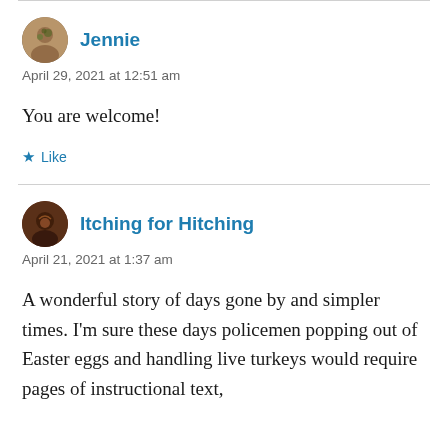Jennie
April 29, 2021 at 12:51 am
You are welcome!
★ Like
Itching for Hitching
April 21, 2021 at 1:37 am
A wonderful story of days gone by and simpler times. I'm sure these days policemen popping out of Easter eggs and handling live turkeys would require pages of instructional text,